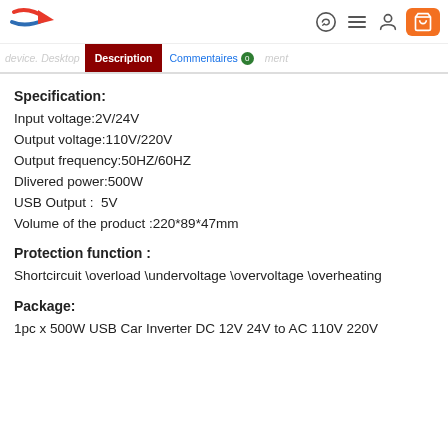Logo and navigation icons
device. Desktop   Description   Commentaires 0   ment
Specification:
Input voltage:2V/24V
Output voltage:110V/220V
Output frequency:50HZ/60HZ
Dlivered power:500W
USB Output :  5V
Volume of the product :220*89*47mm
Protection function :
Shortcircuit \overload \undervoltage \overvoltage \overheating
Package:
1pc x 500W USB Car Inverter DC 12V 24V to AC 110V 220V